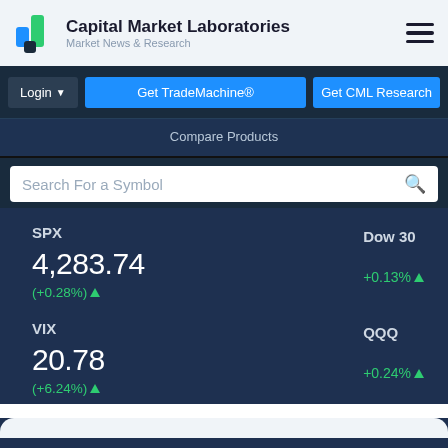Capital Market Laboratories — Market News & Research
Login | Get TradeMachine® | Get CML Research
Compare Products
Search For a Symbol
SPX 4,283.74 (+0.28%)
Dow 30 +0.13%
VIX 20.78 (+6.24%)
QQQ +0.24%